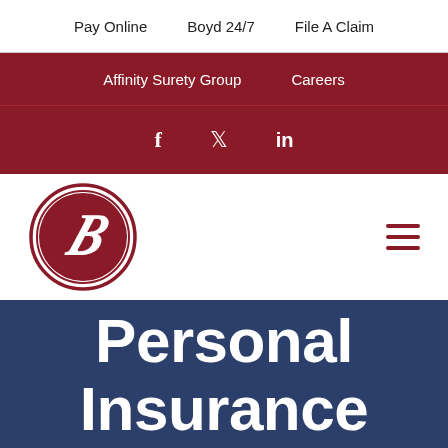Pay Online  Boyd 24/7  File A Claim
Affinity Surety Group  Careers
f  twitter  in
[Figure (logo): Boyd Insurance circular logo with stylized B script letter in dark red/maroon on white background with double circle border]
Personal Insurance